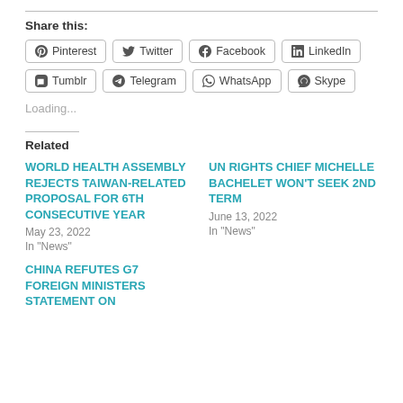Share this:
[Figure (other): Social share buttons: Pinterest, Twitter, Facebook, LinkedIn, Tumblr, Telegram, WhatsApp, Skype]
Loading...
Related
WORLD HEALTH ASSEMBLY REJECTS TAIWAN-RELATED PROPOSAL FOR 6TH CONSECUTIVE YEAR
May 23, 2022
In "News"
UN RIGHTS CHIEF MICHELLE BACHELET WON'T SEEK 2ND TERM
June 13, 2022
In "News"
CHINA REFUTES G7 FOREIGN MINISTERS STATEMENT ON